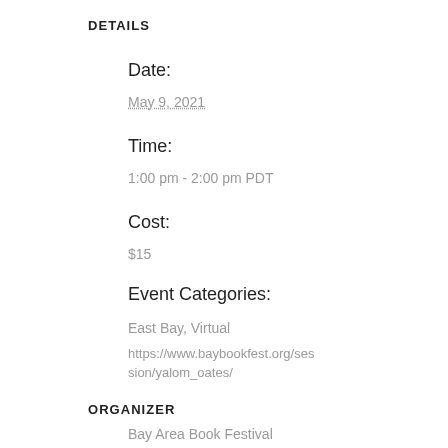DETAILS
Date:
May 9, 2021
Time:
1:00 pm - 2:00 pm PDT
Cost:
$15
Event Categories:
East Bay, Virtual
https://www.baybookfest.org/session/yalom_oates/
ORGANIZER
Bay Area Book Festival